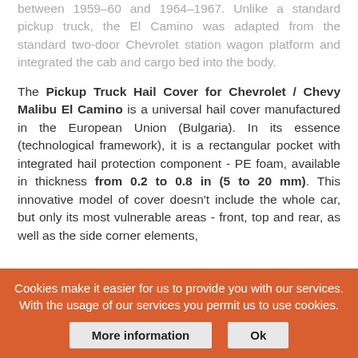between 1959–60 and 1964–1967. Unlike a standard pickup truck, the El Camino was adapted from the standard two-door Chevrolet station wagon platform and integrated the cab and cargo bed into the body.
The Pickup Truck Hail Cover for Chevrolet / Chevy Malibu El Camino is a universal hail cover manufactured in the European Union (Bulgaria). In its essence (technological framework), it is a rectangular pocket with integrated hail protection component - PE foam, available in thickness from 0.2 to 0.8 in (5 to 20 mm). This innovative model of cover doesn't include the whole car, but only its most vulnerable areas - front, top and rear, as well as the side corner elements,
Cookies make it easier for us to provide you with our services. With the usage of our services you permit us to use cookies.